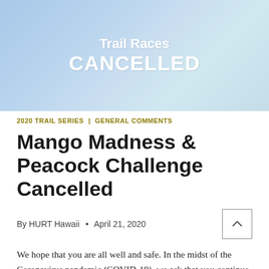[Figure (illustration): Banner image with gradient blue/teal background showing text 'Trail Races CANCELLED' in white bold text]
2020 TRAIL SERIES | GENERAL COMMENTS
Mango Madness & Peacock Challenge Cancelled
By HURT Hawaii • April 21, 2020
We hope that you are all well and safe. In the midst of the Coronavirus pandemic (COVID-19), we ask that you continue to follow the guidelines as described by the